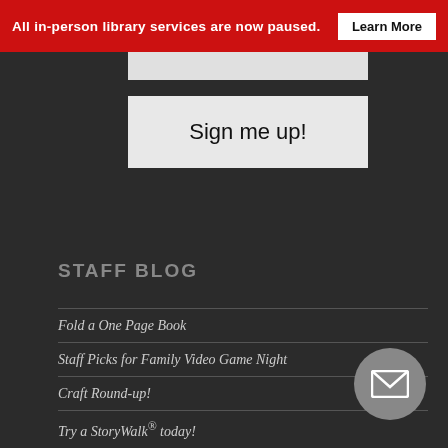All in-person library services are now paused. Learn More
Sign me up!
STAFF BLOG
Fold a One Page Book
Staff Picks for Family Video Game Night
Craft Round-up!
Try a StoryWalk® today!
Make Your Own Oobleck!